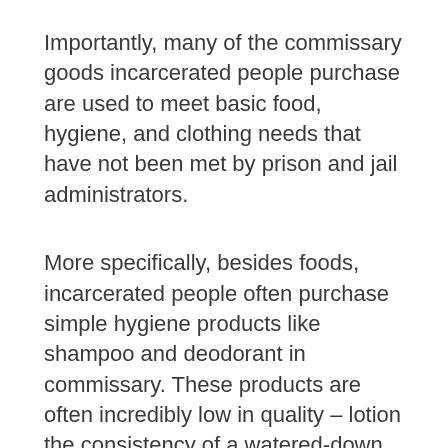Importantly, many of the commissary goods incarcerated people purchase are used to meet basic food, hygiene, and clothing needs that have not been met by prison and jail administrators.
More specifically, besides foods, incarcerated people often purchase simple hygiene products like shampoo and deodorant in commissary. These products are often incredibly low in quality – lotion the consistency of a watered-down gel – and yet priced exorbitantly. And culture-specific hygiene products are even hard to come by or more egregiously priced.